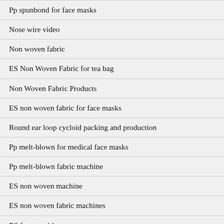Pp spunbond for face masks
Nose wire video
Non woven fabric
ES Non Woven Fabric for tea bag
Non Woven Fabric Products
ES non woven fabric for face masks
Round ear loop cycloid packing and production
Pp melt-blown for medical face masks
Pp melt-blown fabric machine
ES non woven machine
ES non woven fabric machines
ES factory video